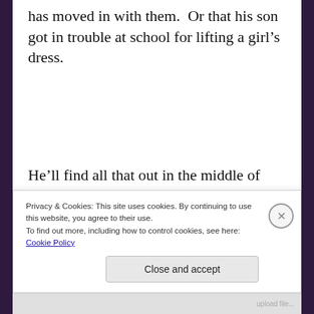has moved in with them.  Or that his son got in trouble at school for lifting a girl's dress.
He'll find all that out in the middle of chopping vegetables for the salad.  Maybe he finishes making the salad, maybe he doesn't.  Maybe he tries to continue cooking, but finally gives up and makes a peanut
Privacy & Cookies: This site uses cookies. By continuing to use this website, you agree to their use.
To find out more, including how to control cookies, see here: Cookie Policy
Close and accept